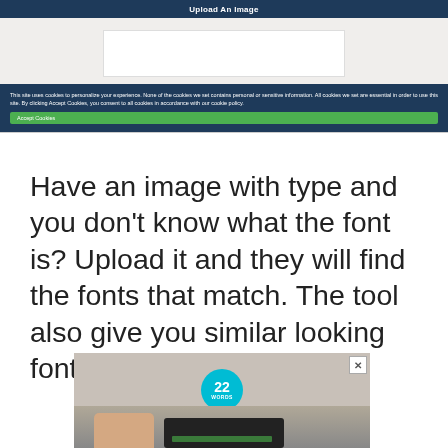[Figure (screenshot): Screenshot of a website showing an 'Upload An Image' tool with a cookie consent banner overlay. The banner has dark navy background with white text about cookies and a green Accept Cookies button.]
Have an image with type and you don't know what the font is? Upload it and they will find the fonts that match. The tool also give you similar looking font recommendations.
[Figure (photo): Advertisement image from '22 Words' showing hands holding a device, with the 22 Words teal circular logo visible.]